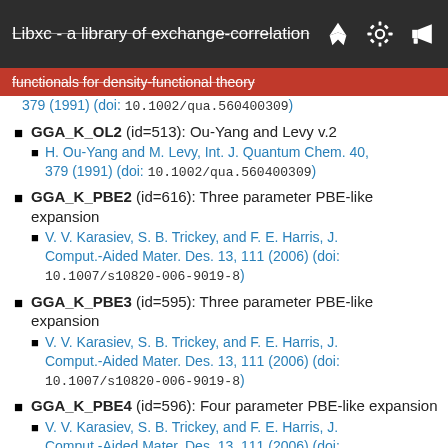Libxc - a library of exchange-correlation
functionals for density-functional theory
379 (1991) (doi: 10.1002/qua.560400309)
GGA_K_OL2 (id=513): Ou-Yang and Levy v.2
H. Ou-Yang and M. Levy, Int. J. Quantum Chem. 40, 379 (1991) (doi: 10.1002/qua.560400309)
GGA_K_PBE2 (id=616): Three parameter PBE-like expansion
V. V. Karasiev, S. B. Trickey, and F. E. Harris, J. Comput.-Aided Mater. Des. 13, 111 (2006) (doi: 10.1007/s10820-006-9019-8)
GGA_K_PBE3 (id=595): Three parameter PBE-like expansion
V. V. Karasiev, S. B. Trickey, and F. E. Harris, J. Comput.-Aided Mater. Des. 13, 111 (2006) (doi: 10.1007/s10820-006-9019-8)
GGA_K_PBE4 (id=596): Four parameter PBE-like expansion
V. V. Karasiev, S. B. Trickey, and F. E. Harris, J. Comput.-Aided Mater. Des. 13, 111 (2006) (doi: 10.1007/s10820-006-9019-8)